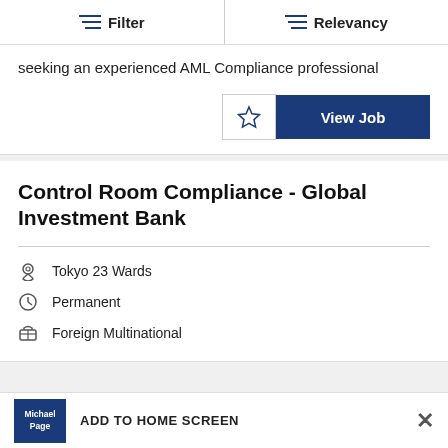Filter | Relevancy
seeking an experienced AML Compliance professional
View Job
Control Room Compliance - Global Investment Bank
Tokyo 23 Wards
Permanent
Foreign Multinational
ADD TO HOME SCREEN